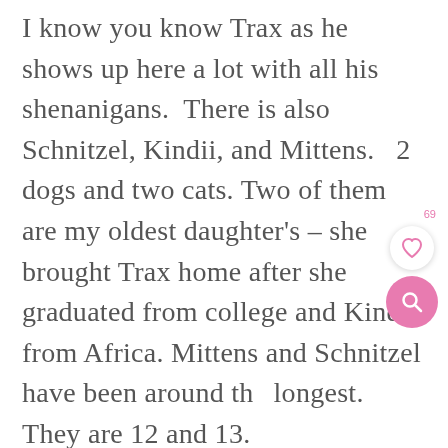I know you know Trax as he shows up here a lot with all his shenanigans.  There is also Schnitzel, Kindii, and Mittens.   2 dogs and two cats. Two of them are my oldest daughter's – she brought Trax home after she graduated from college and Kindi from Africa. Mittens and Schnitzel have been around the longest. They are 12 and 13.
[Figure (infographic): UI overlay buttons: like count '69', heart/favorite button (white circle with pink heart icon), and pink circular search button with magnifying glass icon]